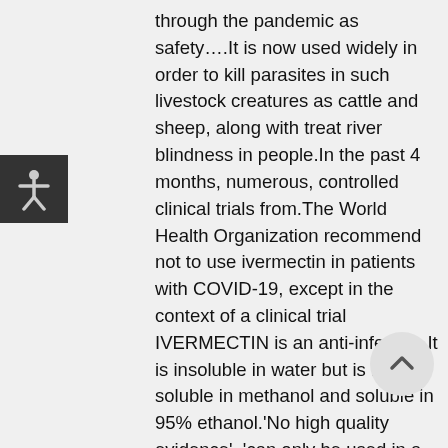[Figure (other): Accessibility button icon with human figure silhouette on dark background]
through the pandemic as safety….It is now used widely in order to kill parasites in such livestock creatures as cattle and sheep, along with treat river blindness in people.In the past 4 months, numerous, controlled clinical trials from.The World Health Organization recommend not to use ivermectin in patients with COVID-19, except in the context of a clinical trial IVERMECTIN is an anti-infective.It is insoluble in water but is freely soluble in methanol and soluble in 95% ethanol.'No high quality evidence', 'can only be used in a clinical trial setting', 'double blinded randomised controlled clinical trial needed', 'insufficient data to recommend either for or against the use' are some of the medical and scientific technicalities that you might
[Figure (other): Scroll to top button — circular arrow pointing upward]